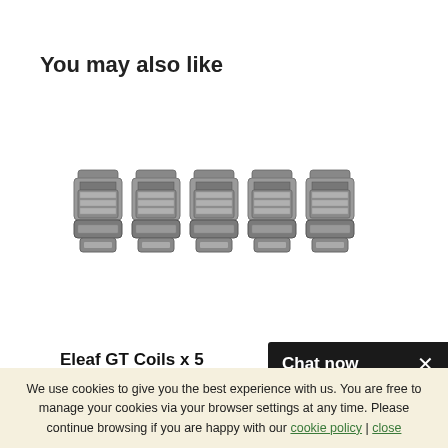You may also like
[Figure (photo): Five Eleaf GT vape coils arranged in a row, metallic silver color with mesh detail]
Eleaf GT Coils x 5
Chat now ×
We use cookies to give you the best experience with us. You are free to manage your cookies via your browser settings at any time. Please continue browsing if you are happy with our cookie policy | close